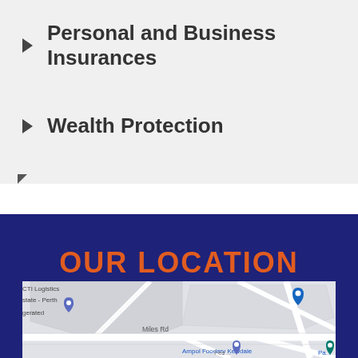Personal and Business Insurances
Wealth Protection
OUR LOCATION
[Figure (map): Google Maps showing location near Kewdale area, Perth. Visible labels include CTI Logistics, state - Perth, gerated, Miles Rd, Ampol Foodary Kewdale. Map pins visible in gray/blue colors.]